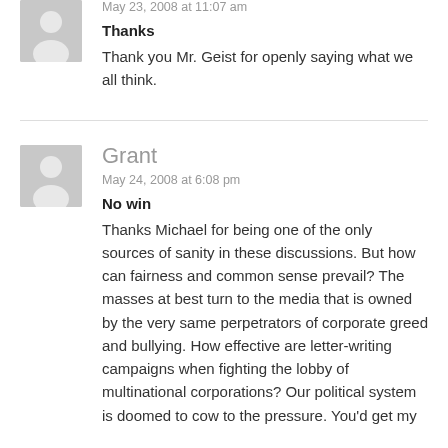May 23, 2008 at 11:07 am
Thanks
Thank you Mr. Geist for openly saying what we all think.
Grant
May 24, 2008 at 6:08 pm
No win
Thanks Michael for being one of the only sources of sanity in these discussions. But how can fairness and common sense prevail? The masses at best turn to the media that is owned by the very same perpetrators of corporate greed and bullying. How effective are letter-writing campaigns when fighting the lobby of multinational corporations? Our political system is doomed to cow to the pressure. You'd get my